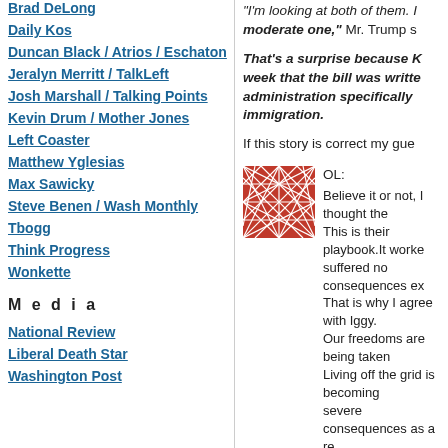Brad DeLong
Daily Kos
Duncan Black / Atrios / Eschaton
Jeralyn Merritt / TalkLeft
Josh Marshall / Talking Points
Kevin Drum / Mother Jones
Left Coaster
Matthew Yglesias
Max Sawicky
Steve Benen / Wash Monthly
Tbogg
Think Progress
Wonkette
M e d i a
National Review
Liberal Death Star
Washington Post
"I'm looking at both of them. I moderate one," Mr. Trump s
That's a surprise because K week that the bill was writte administration specifically immigration.
If this story is correct my gue
[Figure (illustration): Red and white abstract geometric pattern image, square avatar]
OL:
Believe it or not, I thought the
This is their playbook. It worke suffered no consequences ex
That is why I agree with Iggy.
Our freedoms are being taken
Living off the grid is becoming severe consequences as a re deterred.
Hillary has yet to suffer only d
Now our only hope for justice Foundation investigation.